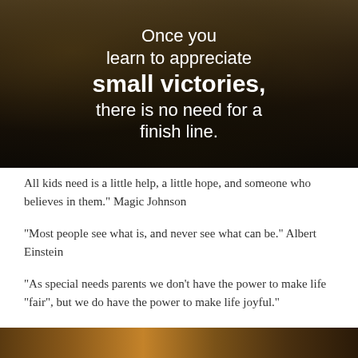[Figure (photo): Dark mountainous landscape background with white text overlay reading: 'Once you learn to appreciate small victories, there is no need for a finish line.']
All kids need is a little help, a little hope, and someone who believes in them." Magic Johnson
"Most people see what is, and never see what can be." Albert Einstein
“As special needs parents we don’t have the power to make life “fair”, but we do have the power to make life joyful.”
[Figure (photo): Partial bottom strip showing a colorful outdoor scene, cropped at the bottom of the page.]